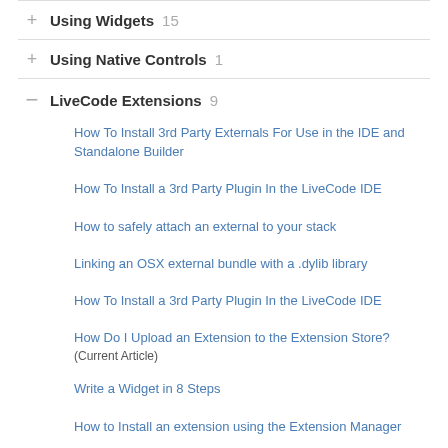Using Widgets 15
Using Native Controls 1
LiveCode Extensions 9
How To Install 3rd Party Externals For Use in the IDE and Standalone Builder
How To Install a 3rd Party Plugin In the LiveCode IDE
How to safely attach an external to your stack
Linking an OSX external bundle with a .dylib library
How To Install a 3rd Party Plugin In the LiveCode IDE
How Do I Upload an Extension to the Extension Store?
(Current Article)
Write a Widget in 8 Steps
How to Install an extension using the Extension Manager